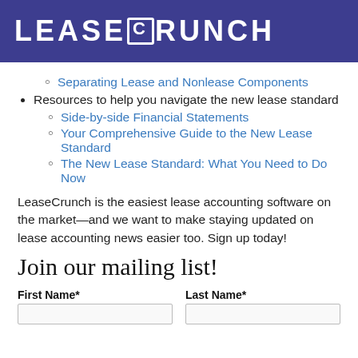[Figure (logo): LeaseCrunch logo — white bold uppercase text on dark blue/purple background]
Separating Lease and Nonlease Components
Resources to help you navigate the new lease standard
Side-by-side Financial Statements
Your Comprehensive Guide to the New Lease Standard
The New Lease Standard: What You Need to Do Now
LeaseCrunch is the easiest lease accounting software on the market—and we want to make staying updated on lease accounting news easier too. Sign up today!
Join our mailing list!
First Name* | Last Name*